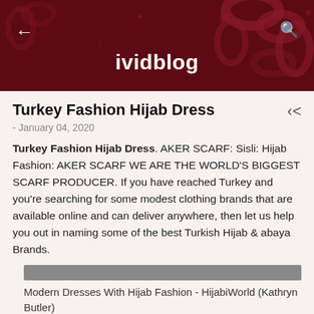ividblog
Turkey Fashion Hijab Dress
- January 04, 2020
Turkey Fashion Hijab Dress. AKER SCARF: Sisli: Hijab Fashion: AKER SCARF WE ARE THE WORLD'S BIGGEST SCARF PRODUCER. If you have reached Turkey and you're searching for some modest clothing brands that are available online and can deliver anywhere, then let us help you out in naming some of the best Turkish Hijab & abaya Brands.
Modern Dresses With Hijab Fashion - HijabiWorld (Kathryn Butler)
Buy Turkish Hijabs, Islamic Clothing, Muslim Prayer Rugs,